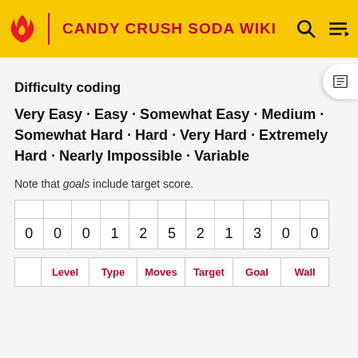CANDY CRUSH SODA WIKI
Difficulty coding
Very Easy · Easy · Somewhat Easy · Medium · Somewhat Hard · Hard · Very Hard · Extremely Hard · Nearly Impossible · Variable
Note that goals include target score.
|  |  |  |  |  |  |  |  |  |  |  |
| 0 | 0 | 0 | 1 | 2 | 5 | 2 | 1 | 3 | 0 | 0 |
|  | Level | Type | Moves | Target | Goal | Wall |
| --- | --- | --- | --- | --- | --- | --- |